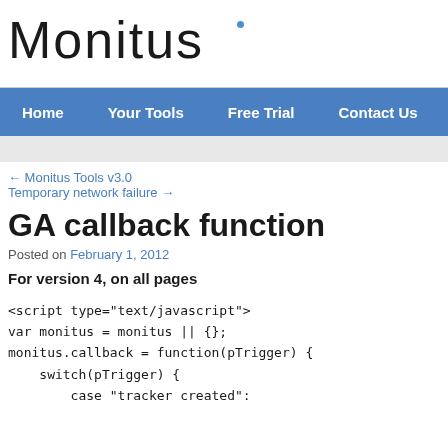Monitus
Home | Your Tools | Free Trial | Contact Us | Monitus Up
← Monitus Tools v3.0
Temporary network failure →
GA callback function
Posted on February 1, 2012
For version 4, on all pages
<script type="text/javascript">
var monitus = monitus || {};
monitus.callback = function(pTrigger) {
    switch(pTrigger) {
        case "tracker created":